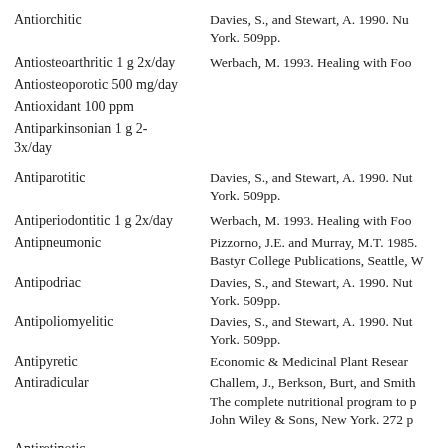Antiorchitic
Davies, S., and Stewart, A. 1990. Nutritional Medicine. Avon Books, New York. 509pp.
Antiosteoarthritic 1 g 2x/day
Werbach, M. 1993. Healing with Food. Harper Collins, New York, 443 pp.
Antiosteoporotic 500 mg/day
Antioxidant 100 ppm
Antiparkinsonian 1 g 2-3x/day
Antiparotitic
Davies, S., and Stewart, A. 1990. Nutritional Medicine. Avon Books, New York. 509pp.
Antiperiodontitic 1 g 2x/day
Werbach, M. 1993. Healing with Food. Harper Collins, New York, 443 pp.
Antipneumonic
Pizzorno, J.E. and Murray, M.T. 1985. A Textbook of Natural Medicine. Bastyr College Publications, Seattle, Washington (Looseleaf).
Antipodriac
Davies, S., and Stewart, A. 1990. Nutritional Medicine. Avon Books, New York. 509pp.
Antipoliomyelitic
Davies, S., and Stewart, A. 1990. Nutritional Medicine. Avon Books, New York. 509pp.
Antipyretic
Economic & Medicinal Plant Research, 5: 207.
Antiradicular
Challem, J., Berkson, Burt, and Smith, Melissa Dianne. 2000. Syndrome X - The complete nutritional program to prevent and reservse insulin resistance. John Wiley & Sons, New York. 272 pp.
Antiretinotic
Antirheumatic